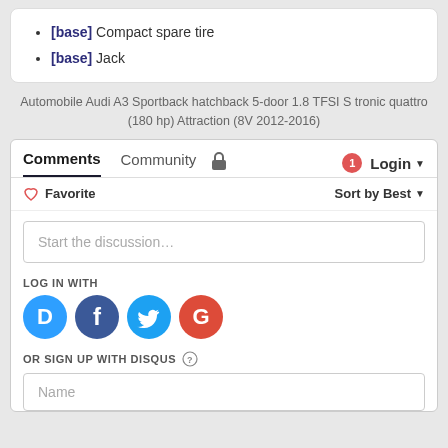[base] Compact spare tire
[base] Jack
Automobile Audi A3 Sportback hatchback 5-door 1.8 TFSI S tronic quattro (180 hp) Attraction (8V 2012-2016)
Comments | Community | Login
Favorite | Sort by Best
Start the discussion…
LOG IN WITH
[Figure (screenshot): Social login icons: Disqus (blue D), Facebook (dark blue f), Twitter (light blue bird), Google (red G)]
OR SIGN UP WITH DISQUS ?
Name